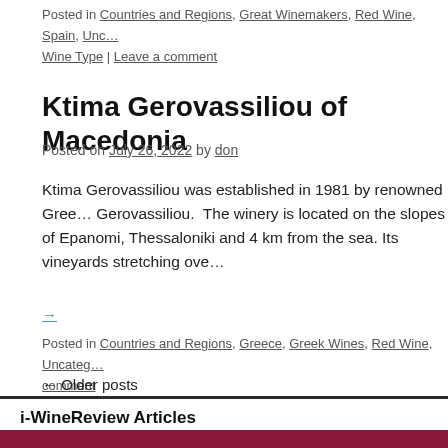Posted in Countries and Regions, Great Winemakers, Red Wine, Spain, Unc… Wine Type | Leave a comment
Ktima Gerovassiliou of Macedonia
Posted on July 26, 2022 by don
Ktima Gerovassiliou was established in 1981 by renowned Gree… Gerovassiliou. The winery is located on the slopes of Epanomi, Thessaloniki and 4 km from the sea. Its vineyards stretching ove…
→
Posted in Countries and Regions, Greece, Greek Wines, Red Wine, Uncateg… comment
← Older posts
i-WineReview Articles